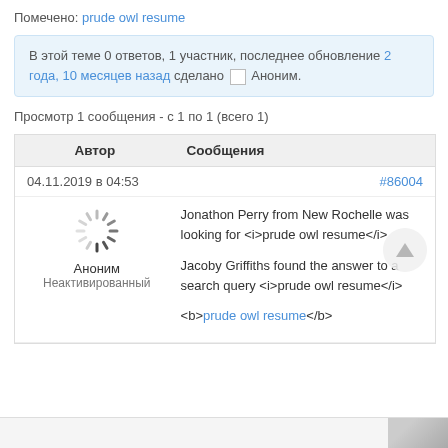Помечено: prude owl resume
В этой теме 0 ответов, 1 участник, последнее обновление 2 года, 10 месяцев назад сделано Аноним.
Просмотр 1 сообщения - с 1 по 1 (всего 1)
| Автор | Сообщения |
| --- | --- |
| 04.11.2019 в 04:53 | #86004 |
| Аноним
Неактивированный | Jonathon Perry from New Rochelle was looking for <i>prude owl resume</i>

Jacoby Griffiths found the answer to a search query <i>prude owl resume</i>

<b>prude owl resume</b> |